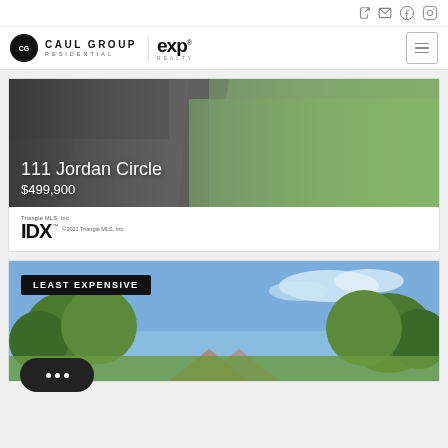[Figure (logo): Caul Group Residential and eXp Realty logos with navigation icons]
[Figure (photo): Property listing photo showing driveway and grass lawn for 111 Jordan Circle]
111 Jordan Circle
$499,900
[Figure (logo): IDX logo - Triangle MLS, Inc. © 2021 Triangle MLS, Inc.]
[Figure (photo): Property listing photo showing house with trees and sky, badge reading LEAST EXPENSIVE]